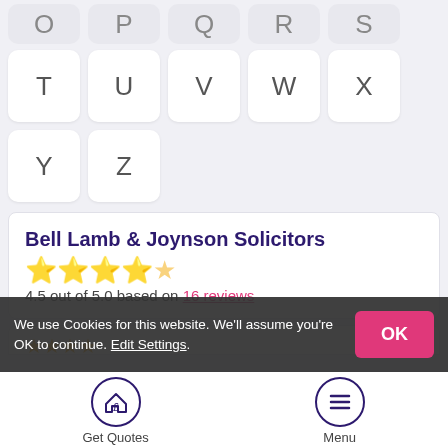[Figure (screenshot): Alphabet navigation grid showing partial top row (O, P, Q, R, S), second row (T, U, V, W, X), and third row (Y, Z) as white rounded square buttons on light grey background]
Bell Lamb & Joynson Solicitors
4.5 out of 5.0 based on 16 reviews
We use Cookies for this website. We'll assume you're OK to continue. Edit Settings.
[Figure (screenshot): Bottom navigation bar with Get Quotes (house with pound sign icon) and Menu (hamburger icon) buttons]